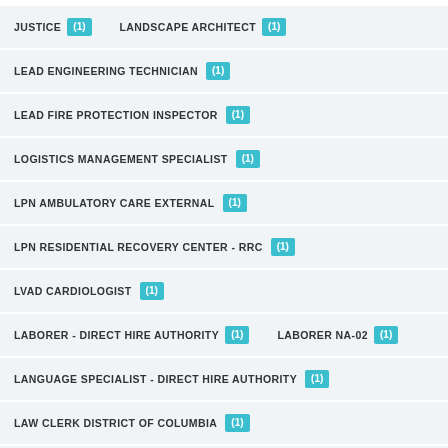JUSTICE (1)  LANDSCAPE ARCHITECT (1)
LEAD ENGINEERING TECHNICIAN (1)
LEAD FIRE PROTECTION INSPECTOR (1)
LOGISTICS MANAGEMENT SPECIALIST (1)
LPN AMBULATORY CARE EXTERNAL (1)
LPN RESIDENTIAL RECOVERY CENTER - RRC (1)
LVAD CARDIOLOGIST (1)
LABORER - DIRECT HIRE AUTHORITY (1)  LABORER NA-02 (1)
LANGUAGE SPECIALIST - DIRECT HIRE AUTHORITY (1)
LAW CLERK DISTRICT OF COLUMBIA (1)
LEAD CHILD AND YOUTH PROGRAM ASSISTANT (LEVEL 5) CY-02 (1)
LEAD MEDICAL SUPPORT ASSISTANT (1)
LEAD SECURITY GUARD (1)